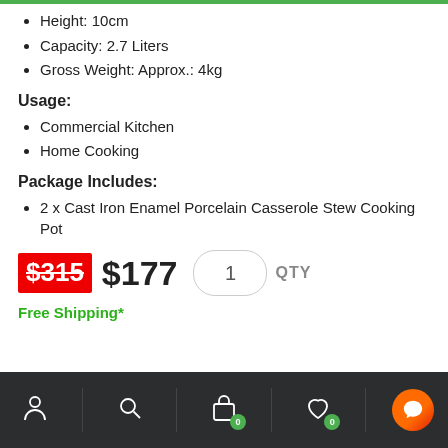Height: 10cm
Capacity: 2.7 Liters
Gross Weight: Approx.: 4kg
Usage:
Commercial Kitchen
Home Cooking
Package Includes:
2 x Cast Iron Enamel Porcelain Casserole Stew Cooking Pot
$315 $177  1  QTY
Free Shipping*